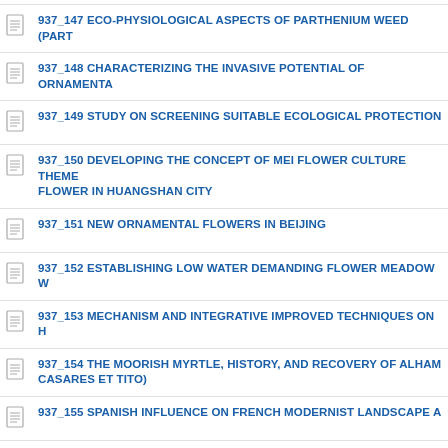937_147 ECO-PHYSIOLOGICAL ASPECTS OF PARTHENIUM WEED (PART
937_148 CHARACTERIZING THE INVASIVE POTENTIAL OF ORNAMENTA
937_149 STUDY ON SCREENING SUITABLE ECOLOGICAL PROTECTION
937_150 DEVELOPING THE CONCEPT OF MEI FLOWER CULTURE THEME FLOWER IN HUANGSHAN CITY
937_151 NEW ORNAMENTAL FLOWERS IN BEIJING
937_152 ESTABLISHING LOW WATER DEMANDING FLOWER MEADOW W
937_153 MECHANISM AND INTEGRATIVE IMPROVED TECHNIQUES ON H
937_154 THE MOORISH MYRTLE, HISTORY, AND RECOVERY OF ALHAM CASARES ET TITO)
937_155 SPANISH INFLUENCE ON FRENCH MODERNIST LANDSCAPE A
937_156 AUTOPOIESIS OF ANDALUSIAN URBAN LANDSCAPING
937_157 GARDEN CULTURE OF THE EUROPEAN IMMIGRANT AND IDEN